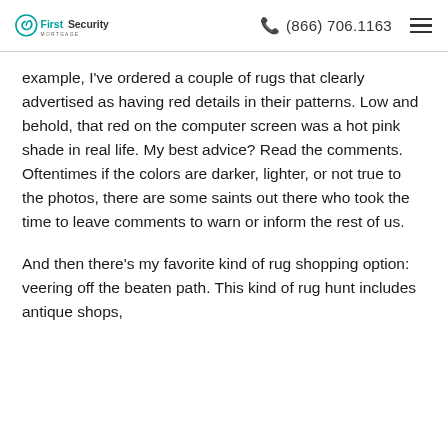First Security Mortgage | (866) 706.1163
example, I've ordered a couple of rugs that clearly advertised as having red details in their patterns. Low and behold, that red on the computer screen was a hot pink shade in real life. My best advice? Read the comments. Oftentimes if the colors are darker, lighter, or not true to the photos, there are some saints out there who took the time to leave comments to warn or inform the rest of us.
And then there's my favorite kind of rug shopping option: veering off the beaten path. This kind of rug hunt includes antique shops,